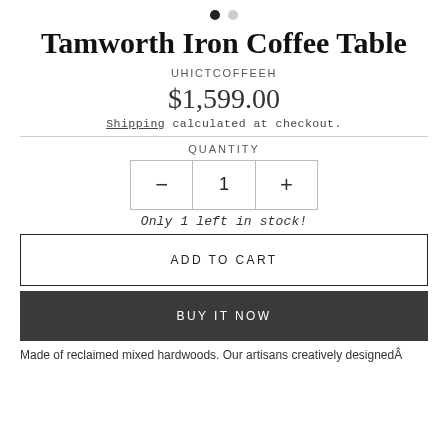Tamworth Iron Coffee Table
UHICTCOFFEEH
$1,599.00
Shipping calculated at checkout.
QUANTITY
1
Only 1 left in stock!
ADD TO CART
BUY IT NOW
Made of reclaimed mixed hardwoods. Our artisans creatively designedÂ